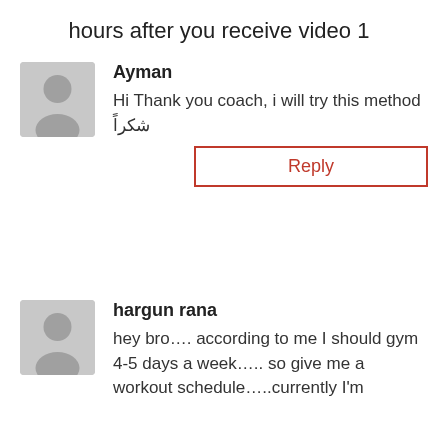hours after you receive video 1
Ayman
Hi Thank you coach, i will try this method
شكراً
Reply
hargun rana
hey bro…. according to me I should gym 4-5 days a week….. so give me a workout schedule…..currently I'm